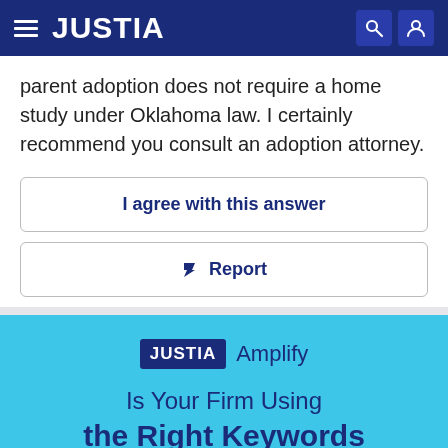JUSTIA
parent adoption does not require a home study under Oklahoma law. I certainly recommend you consult an adoption attorney.
I agree with this answer
Report
[Figure (screenshot): Justia Amplify advertisement banner with text: Is Your Firm Using the Right Keywords on Google Ads?]